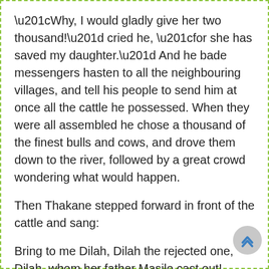“Why, I would gladly give her two thousand!” cried he, “for she has saved my daughter.” And he bade messengers hasten to all the neighbouring villages, and tell his people to send him at once all the cattle he possessed. When they were all assembled he chose a thousand of the finest bulls and cows, and drove them down to the river, followed by a great crowd wondering what would happen.
Then Thakane stepped forward in front of the cattle and sang:
Bring to me Dilah, Dilah the rejected one, Dilah, whom her father Masilo cast out!
And Dilah came from the waters holding out her hands to Masilo and Thakane, and in her place the cattle went into the lake, and were driven by the old woman to …